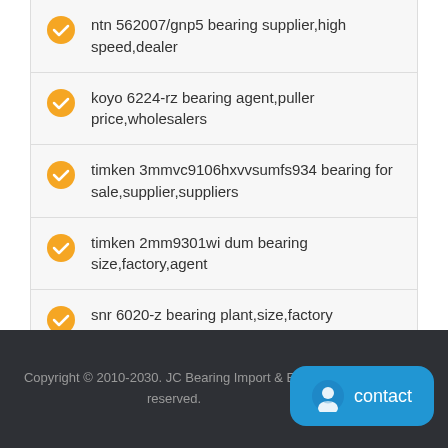ntn 562007/gnp5 bearing supplier,high speed,dealer
koyo 6224-rz bearing agent,puller price,wholesalers
timken 3mmvc9106hxvvsumfs934 bearing for sale,supplier,suppliers
timken 2mm9301wi dum bearing size,factory,agent
snr 6020-z bearing plant,size,factory
Copyright © 2010-2030. JC Bearing Import & Export reserved.